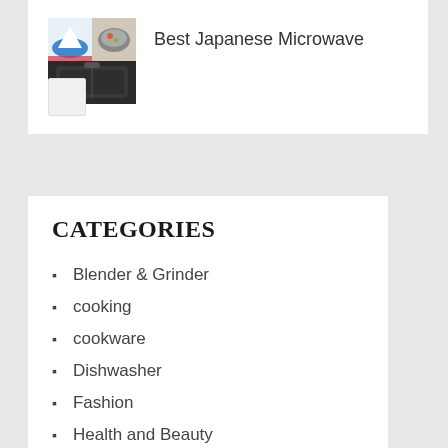[Figure (photo): Product listing image for Best Japanese Microwave showing collage of food images and a carrying case]
Best Japanese Microwave
CATEGORIES
Blender & Grinder
cooking
cookware
Dishwasher
Fashion
Health and Beauty
Kitchen Accessories
Oven